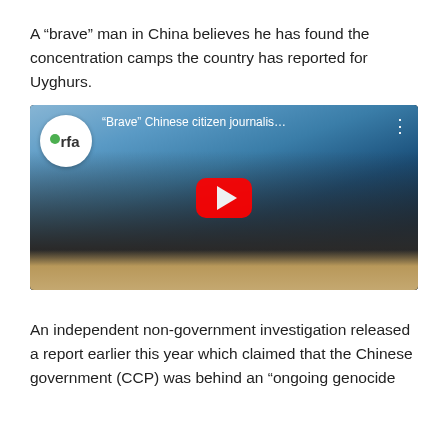A “brave” man in China believes he has found the concentration camps the country has reported for Uyghurs.
[Figure (screenshot): YouTube video thumbnail showing a Chinese citizen journalist wearing glasses and a face mask, lying on sandy ground, with the RFA (Radio Free Asia) logo and video title '“Brave” Chinese citizen journalis…' displayed. A red YouTube play button is centered on the image.]
An independent non-government investigation released a report earlier this year which claimed that the Chinese government (CCP) was behind an “ongoing genocide